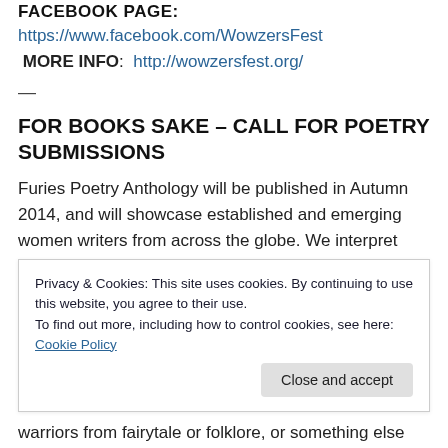FACEBOOK PAGE:
https://www.facebook.com/WowzersFest
MORE INFO:  http://wowzersfest.org/
—
FOR BOOKS SAKE – CALL FOR POETRY SUBMISSIONS
Furies Poetry Anthology will be published in Autumn 2014, and will showcase established and emerging women writers from across the globe. We interpret Furies in the widest possible sense, and your ballest heroines may be
Privacy & Cookies: This site uses cookies. By continuing to use this website, you agree to their use.
To find out more, including how to control cookies, see here: Cookie Policy
warriors from fairytale or folklore, or something else